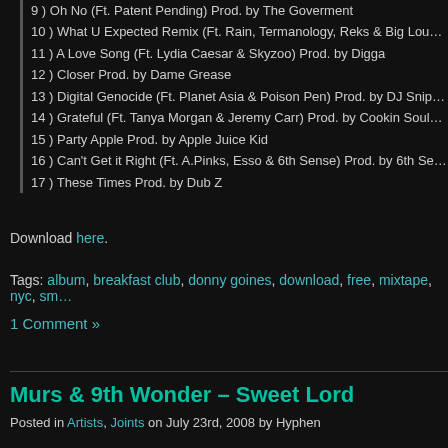9 ) Oh No (Ft. Patent Pending) Prod. by The Goverment
10 ) What U Expected Remix (Ft. Rain, Termanology, Reks & Big Lou…
11 ) A Love Song (Ft. Lydia Caesar & Skyzoo) Prod. by Digga
12 ) Closer Prod. by Dame Grease
13 ) Digital Genocide (Ft. Planet Asia & Poison Pen) Prod. by DJ Snip…
14 ) Grateful (Ft. Tanya Morgan & Jeremy Carr) Prod. by Cookin Soul…
15 ) Party Apple Prod. by Apple Juice Kid
16 ) Can't Get it Right (Ft. A.Pinks, Esso & 6th Sense) Prod. by 6th Se…
17 ) These Times Prod. by Dub Z
Download here.
Tags: album, breakfast club, donny goines, download, free, mixtape, nyc, sm…
1 Comment »
Murs & 9th Wonder – Sweet Lord
Posted in Artists, Joints on July 23rd, 2008 by Hyphen
[Figure (photo): Murs & 9th Wonder album cover thumbnail]
(image jacked from 2 Dope Boy…
Murs and 9th Wonder made this EP two years ago and never released it, so…